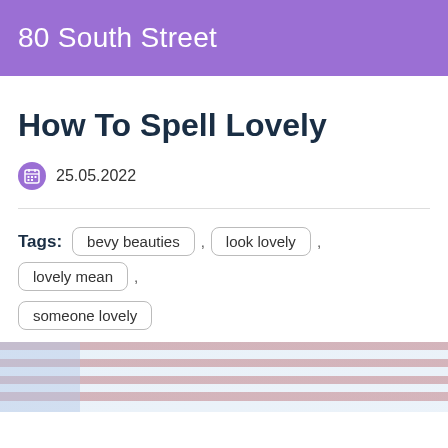80 South Street
How To Spell Lovely
25.05.2022
Tags: bevy beauties , look lovely , lovely mean , someone lovely
[Figure (photo): Partial view of an American flag with light blue sky background, faded/washed out appearance]